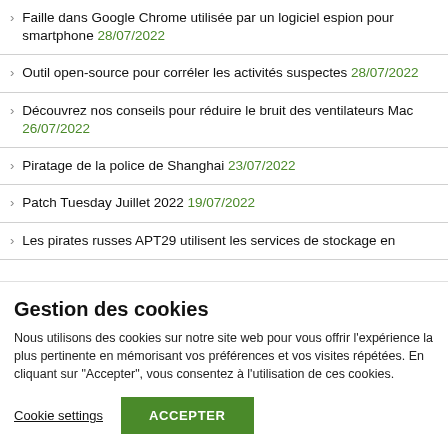Faille dans Google Chrome utilisée par un logiciel espion pour smartphone 28/07/2022
Outil open-source pour corréler les activités suspectes 28/07/2022
Découvrez nos conseils pour réduire le bruit des ventilateurs Mac 26/07/2022
Piratage de la police de Shanghai 23/07/2022
Patch Tuesday Juillet 2022 19/07/2022
Les pirates russes APT29 utilisent les services de stockage en
Gestion des cookies
Nous utilisons des cookies sur notre site web pour vous offrir l'expérience la plus pertinente en mémorisant vos préférences et vos visites répétées. En cliquant sur "Accepter", vous consentez à l'utilisation de ces cookies.
Cookie settings  ACCEPTER